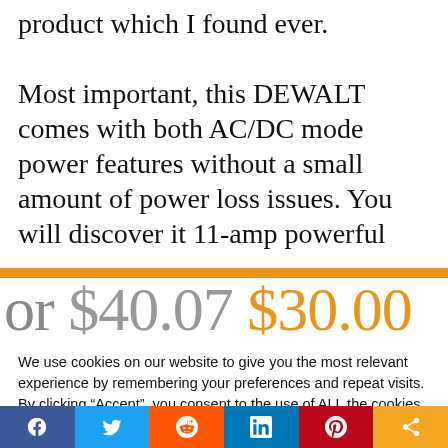product which I found ever. Most important, this DEWALT comes with both AC/DC mode power features without a small amount of power loss issues. You will discover it 11-amp powerful
or $40.07 $30.00
We use cookies on our website to give you the most relevant experience by remembering your preferences and repeat visits. By clicking “Accept”, you consent to the use of ALL the cookies.
Do not sell my personal information.
Cookie Settings  Accept